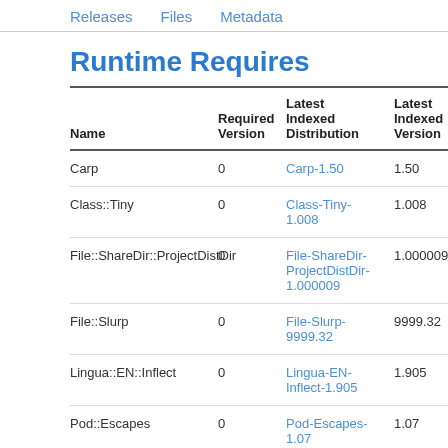Releases   Files   Metadata
Runtime Requires
| Name | Required Version | Latest Indexed Distribution | Latest Indexed Version | Co Si |
| --- | --- | --- | --- | --- |
| Carp | 0 | Carp-1.50 | 1.50 | 5.0 |
| Class::Tiny | 0 | Class-Tiny-1.008 | 1.008 | - |
| File::ShareDir::ProjectDistDir | 0 | File-ShareDir-ProjectDistDir-1.000009 | 1.000009 | - |
| File::Slurp | 0 | File-Slurp-9999.32 | 9999.32 | - |
| Lingua::EN::Inflect | 0 | Lingua-EN-Inflect-1.905 | 1.905 | - |
| Pod::Escapes | 0 | Pod-Escapes-1.07 | 1.07 | 5.0 |